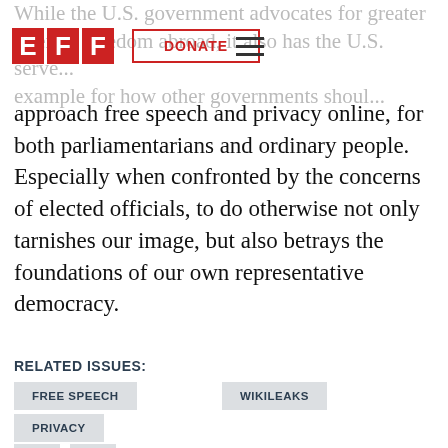EFF | DONATE
approach free speech and privacy online, for both parliamentarians and ordinary people. Especially when confronted by the concerns of elected officials, to do otherwise not only tarnishes our image, but also betrays the foundations of our own representative democracy.
RELATED ISSUES:
FREE SPEECH
WIKILEAKS
PRIVACY